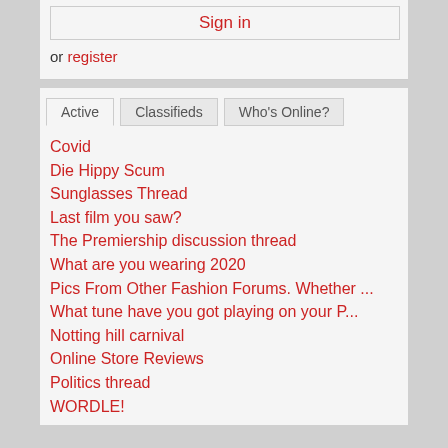Sign in
or register
Active | Classifieds | Who's Online?
Covid
Die Hippy Scum
Sunglasses Thread
Last film you saw?
The Premiership discussion thread
What are you wearing 2020
Pics From Other Fashion Forums. Whether ...
What tune have you got playing on your P...
Notting hill carnival
Online Store Reviews
Politics thread
WORDLE!